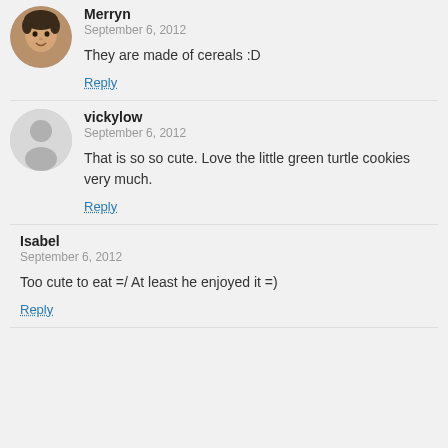[Figure (photo): Round avatar photo of a baby/toddler (Merryn)]
Merryn
September 6, 2012
They are made of cereals :D
Reply
[Figure (illustration): Generic grey user avatar icon (silhouette) for vickylow]
vickylow
September 6, 2012
That is so so cute. Love the little green turtle cookies very much.
Reply
Isabel
September 6, 2012
Too cute to eat =/ At least he enjoyed it =)
Reply